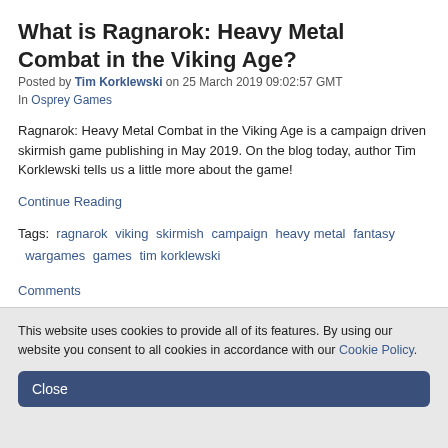What is Ragnarok: Heavy Metal Combat in the Viking Age?
Posted by Tim Korklewski on 25 March 2019 09:02:57 GMT
In Osprey Games
Ragnarok: Heavy Metal Combat in the Viking Age is a campaign driven skirmish game publishing in May 2019. On the blog today, author Tim Korklewski tells us a little more about the game!
Continue Reading
Tags:  ragnarok  viking  skirmish  campaign  heavy metal  fantasy  wargames  games  tim korklewski
Comments
This website uses cookies to provide all of its features. By using our website you consent to all cookies in accordance with our Cookie Policy.
Close